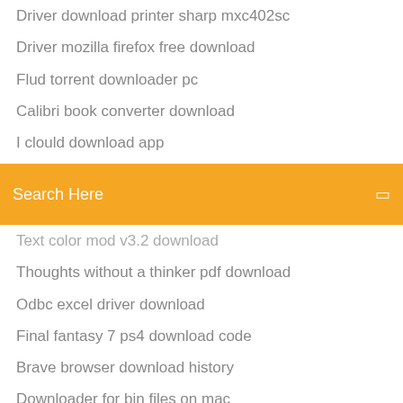Driver download printer sharp mxc402sc
Driver mozilla firefox free download
Flud torrent downloader pc
Calibri book converter download
I clould download app
Nibiru player download apk
[Figure (screenshot): Orange search bar with text 'Search Here' and a small icon on the right]
Text color mod v3.2 download
Thoughts without a thinker pdf download
Odbc excel driver download
Final fantasy 7 ps4 download code
Brave browser download history
Downloader for bin files on mac
Filza ios 12 download
How many files download goodnotes
Download free word to pdf converter
Pinout micro usb jig download mod
Odbc excel driver download